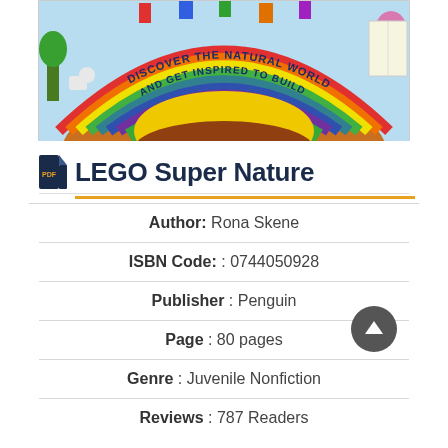[Figure (illustration): LEGO Super Nature book cover showing LEGO animal figures arranged around a colorful rainbow/globe design with text 'Discover the Natural World and Get Inspired to Build']
LEGO Super Nature
Author: Rona Skene
ISBN Code: : 0744050928
Publisher : Penguin
Page : 80 pages
Genre : Juvenile Nonfiction
Reviews : 787 Readers